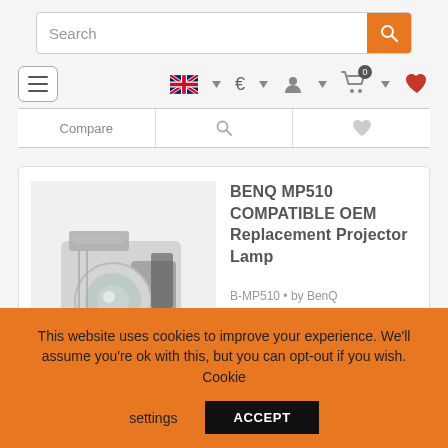[Figure (screenshot): Search bar with text 'Search' and orange search button with magnifying glass icon]
[Figure (screenshot): Navigation bar with hamburger menu, UK flag dropdown, Euro currency selector, user account icon, cart icon with 0 badge, and heart/wishlist icon]
[Figure (screenshot): Toolbar row with Compare button, search icon, and heart icon]
[Figure (photo): BenQ MP510 projector replacement lamp product image]
BENQ MP510 COMPATIBLE OEM Replacement Projector Lamp
B-MP510 • by BenQ
€226.81 incl. GR VAT
This website uses cookies to improve your experience. We'll assume you're ok with this, but you can opt-out if you wish. Cookie settings ACCEPT